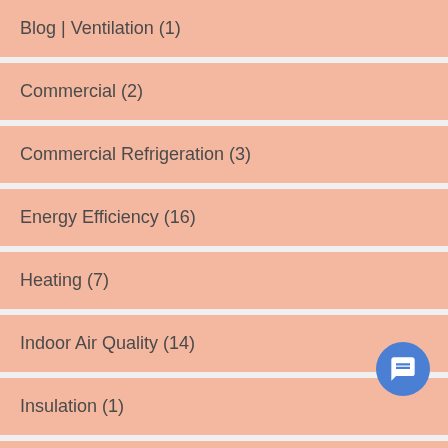Blog | Ventilation (1)
Commercial (2)
Commercial Refrigeration (3)
Energy Efficiency (16)
Heating (7)
Indoor Air Quality (14)
Insulation (1)
Refrigeration (5)